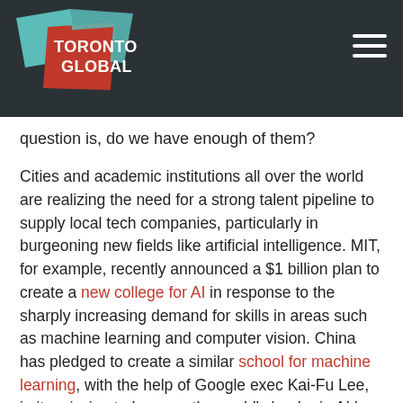[Figure (logo): Toronto Global logo with red and teal geometric shapes on dark background header bar with hamburger menu icon]
question is, do we have enough of them?
Cities and academic institutions all over the world are realizing the need for a strong talent pipeline to supply local tech companies, particularly in burgeoning new fields like artificial intelligence. MIT, for example, recently announced a $1 billion plan to create a new college for AI in response to the sharply increasing demand for skills in areas such as machine learning and computer vision. China has pledged to create a similar school for machine learning, with the help of Google exec Kai-Fu Lee, in its mission to become the world's leader in AI by 2030.